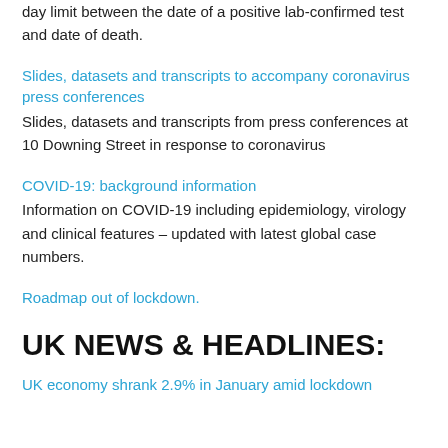day limit between the date of a positive lab-confirmed test and date of death.
Slides, datasets and transcripts to accompany coronavirus press conferences
Slides, datasets and transcripts from press conferences at 10 Downing Street in response to coronavirus
COVID-19: background information
Information on COVID-19 including epidemiology, virology and clinical features – updated with latest global case numbers.
Roadmap out of lockdown.
UK NEWS & HEADLINES:
UK economy shrank 2.9% in January amid lockdown